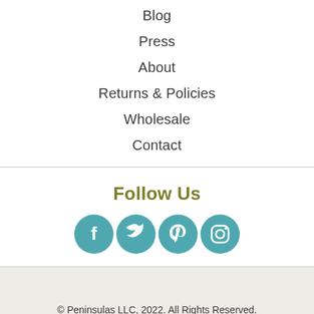Blog
Press
About
Returns & Policies
Wholesale
Contact
Follow Us
[Figure (other): Row of four circular social media icons (Facebook, Twitter, Pinterest, Instagram) in teal/blue-green color]
© Peninsulas LLC, 2022. All Rights Reserved.